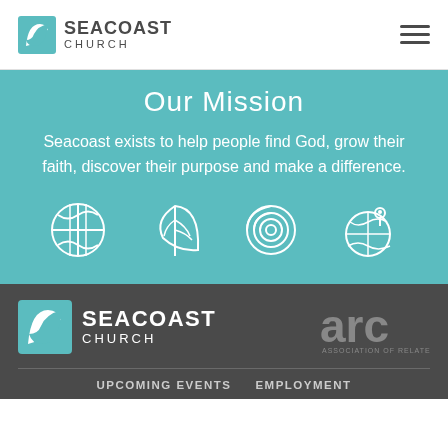[Figure (logo): Seacoast Church logo with teal S icon and text SEACOAST CHURCH in header]
Our Mission
Seacoast exists to help people find God, grow their faith, discover their purpose and make a difference.
[Figure (infographic): Four white outline icons on teal background: globe/cross, leaf, fingerprint, globe with location pin]
[Figure (logo): Seacoast Church logo in footer — white text on dark gray background]
[Figure (logo): ARC — Association of Related Churches logo in gray]
UPCOMING EVENTS
EMPLOYMENT